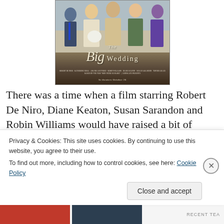[Figure (photo): Movie poster for 'The Big Wedding' showing several people sitting on steps. Title text reads 'The Big Wedding' in stylized script. Bottom text reads 'In theaters October 26'.]
There was a time when a film starring Robert De Niro, Diane Keaton, Susan Sarandon and Robin Williams would have raised a bit of interest. But with recent all-star comedies like Valentine's Day and New Year's Eve
Privacy & Cookies: This site uses cookies. By continuing to use this website, you agree to their use.
To find out more, including how to control cookies, see here: Cookie Policy
Close and accept